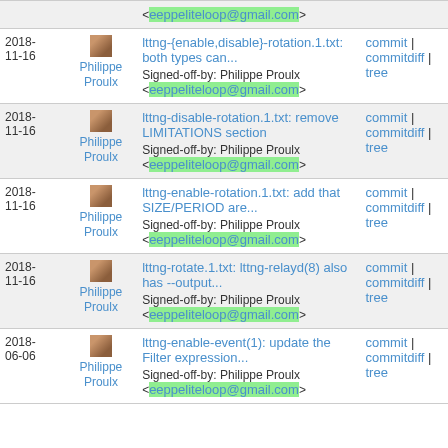| Date | Author | Commit | Links |
| --- | --- | --- | --- |
|  |  | <eeppeliteloop@gmail.com> |  |
| 2018-11-16 | Philippe Proulx | lttng-{enable,disable}-rotation.1.txt: both types can...
Signed-off-by: Philippe Proulx <eeppeliteloop@gmail.com> | commit | commitdiff | tree |
| 2018-11-16 | Philippe Proulx | lttng-disable-rotation.1.txt: remove LIMITATIONS section
Signed-off-by: Philippe Proulx <eeppeliteloop@gmail.com> | commit | commitdiff | tree |
| 2018-11-16 | Philippe Proulx | lttng-enable-rotation.1.txt: add that SIZE/PERIOD are...
Signed-off-by: Philippe Proulx <eeppeliteloop@gmail.com> | commit | commitdiff | tree |
| 2018-11-16 | Philippe Proulx | lttng-rotate.1.txt: lttng-relayd(8) also has --output...
Signed-off-by: Philippe Proulx <eeppeliteloop@gmail.com> | commit | commitdiff | tree |
| 2018-06-06 | Philippe Proulx | lttng-enable-event(1): update the Filter expression...
Signed-off-by: Philippe Proulx <eeppeliteloop@gmail.com> | commit | commitdiff | tree |